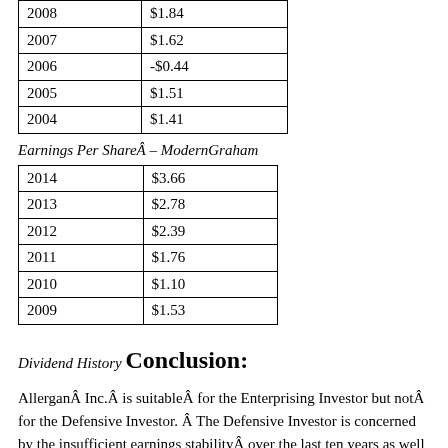| 2008 | $1.84 |
| 2007 | $1.62 |
| 2006 | -$0.44 |
| 2005 | $1.51 |
| 2004 | $1.41 |
Earnings Per ShareÂ – ModernGraham
| 2014 | $3.66 |
| 2013 | $2.78 |
| 2012 | $2.39 |
| 2011 | $1.76 |
| 2010 | $1.10 |
| 2009 | $1.53 |
Dividend History
Conclusion:
AllerganÂ Inc.Â is suitableÂ for the Enterprising Investor but notÂ for the Defensive Investor. Â The Defensive Investor is concerned by the insufficient earnings stabilityÂ over the last ten years as well as the high PE and PB ratios.Â The Enterprising